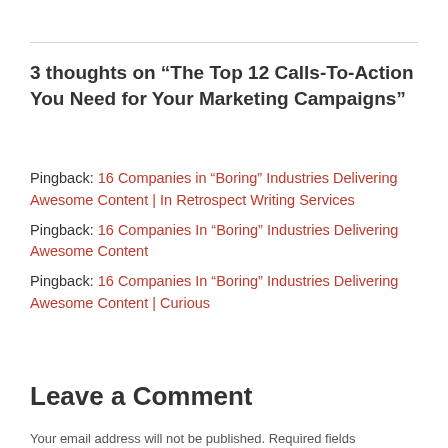3 thoughts on “The Top 12 Calls-To-Action You Need for Your Marketing Campaigns”
Pingback: 16 Companies in “Boring” Industries Delivering Awesome Content | In Retrospect Writing Services
Pingback: 16 Companies In “Boring” Industries Delivering Awesome Content
Pingback: 16 Companies In “Boring” Industries Delivering Awesome Content | Curious
Leave a Comment
Your email address will not be published. Required fields